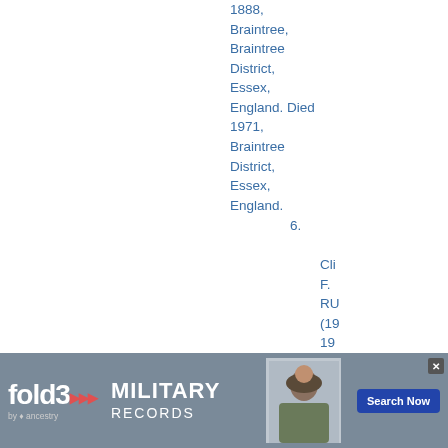1888, Braintree, Braintree District, Essex, England. Died 1971, Braintree District, Essex, England.
6.
Cli F. RU (19 19 Bo 19 Bra Dis Es En Di 19 Br Di Es
[Figure (other): Fold3 Military Records advertisement banner with logo, soldier photo, and Search Now button]